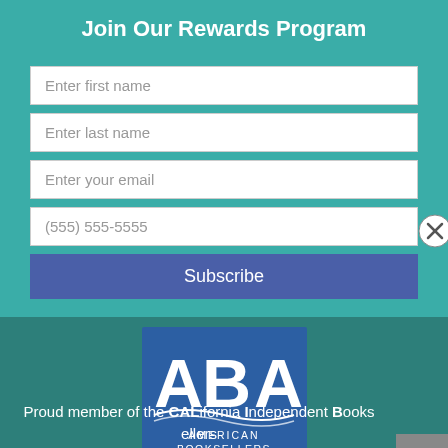Join Our Rewards Program
Enter first name
Enter last name
Enter your email
(555) 555-5555
Subscribe
[Figure (logo): American Booksellers Association (ABA) logo with stylized letters and waves]
Proud member of the CALifornia Independent Booksellers Alliance